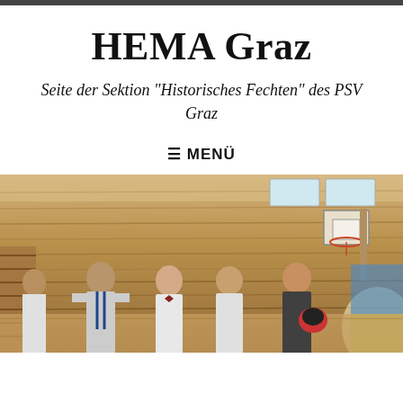HEMA Graz
Seite der Sektion "Historisches Fechten" des PSV Graz
≡ MENÜ
[Figure (photo): Four men in fencing attire standing in a wooden gymnasium with basketball hoop visible in background]